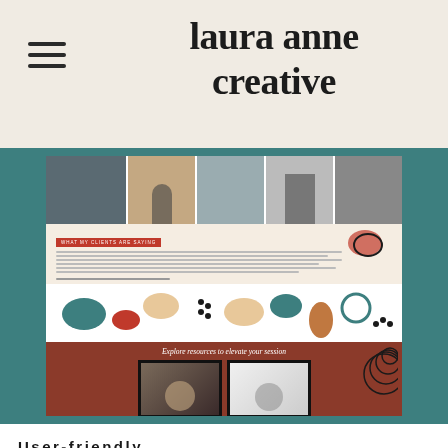laura anne creative
[Figure (screenshot): Screenshot of a photography website design showing a header with photos, a testimonial section with 'What my clients are saying' label, abstract colorful blob shapes, and a rust-colored resources section with 'Explore resources to elevate your session' text and two photos]
User-friendly
Once I'm done designing a site for my clients, I